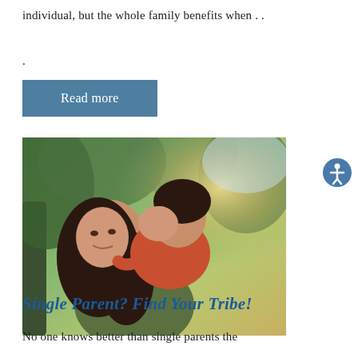individual, but the whole family benefits when . .
.
Read more
[Figure (photo): A mother holding a young girl who is whispering or kissing the mother's cheek, outdoors with green trees and sunlight in the background.]
Single Parent? Find Your Tribe!
No one knows better than single parents the